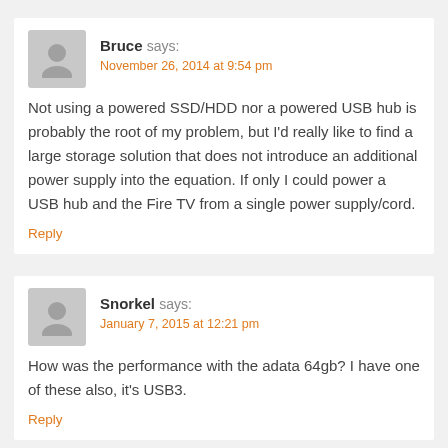Bruce says: November 26, 2014 at 9:54 pm
Not using a powered SSD/HDD nor a powered USB hub is probably the root of my problem, but I'd really like to find a large storage solution that does not introduce an additional power supply into the equation. If only I could power a USB hub and the Fire TV from a single power supply/cord.
Reply
Snorkel says: January 7, 2015 at 12:21 pm
How was the performance with the adata 64gb? I have one of these also, it's USB3.
Reply